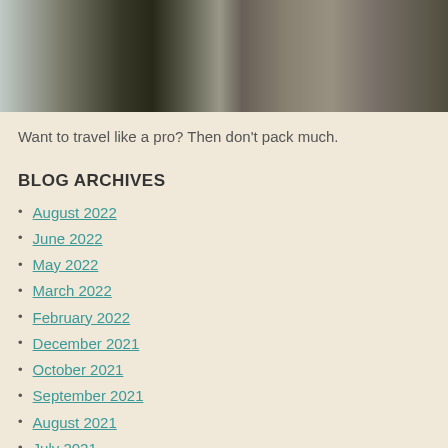[Figure (photo): Top portion of a travel/luggage photo showing suitcases or bags, partially cropped]
Want to travel like a pro? Then don't pack much.
BLOG ARCHIVES
August 2022
June 2022
May 2022
March 2022
February 2022
December 2021
October 2021
September 2021
August 2021
July 2021
June 2021
April 2021
March 2021
January 2021
November 2020
October 2020
September 2020
August 2020